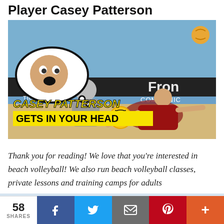Player Casey Patterson
[Figure (photo): Beach volleyball photo of Casey Patterson diving for a ball, with a thought bubble overlay on the left showing his face with mouth open, and yellow text overlay reading 'CASEY PATTERSON GETS IN YOUR HEAD']
Thank you for reading! We love that you're interested in beach volleyball! We also run beach volleyball classes, private lessons and training camps for adults
58 SHARES | Facebook | Twitter | Email | Pinterest | More